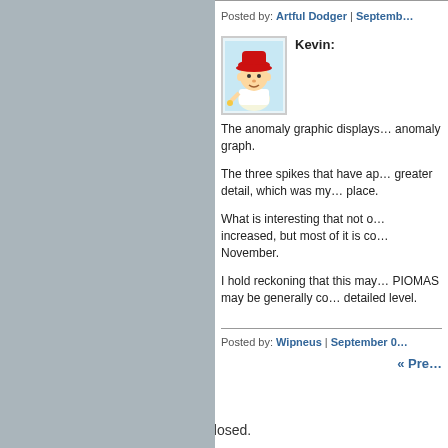Posted by: Artful Dodger | Septemb…
[Figure (illustration): Cartoon avatar of a child character with red hat]
Kevin:
The anomaly graphic displays… anomaly graph.
The three spikes that have ap… greater detail, which was my… place.
What is interesting that not o… increased, but most of it is co… November.
I hold reckoning that this may… PIOMAS may be generally co… detailed level.
Posted by: Wipneus | September 0…
« Pre…
The comments to this entry are closed.